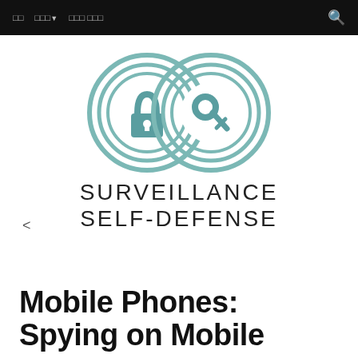□□  □□□▼  □□□ □□□  🔍
[Figure (logo): Surveillance Self-Defense logo: two overlapping teal circles with a padlock and a key icon inside them]
SURVEILLANCE SELF-DEFENSE
<
Mobile Phones: Spying on Mobile